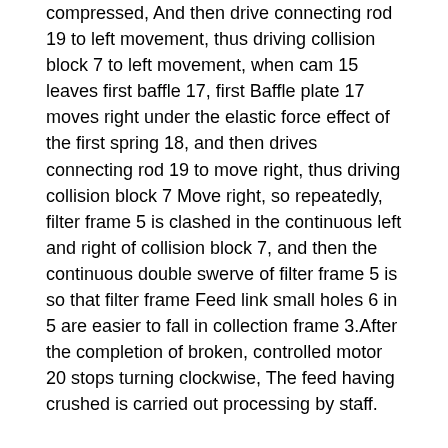compressed, And then drive connecting rod 19 to left movement, thus driving collision block 7 to left movement, when cam 15 leaves first baffle 17, first Baffle plate 17 moves right under the elastic force effect of the first spring 18, and then drives connecting rod 19 to move right, thus driving collision block 7 Move right, so repeatedly, filter frame 5 is clashed in the continuous left and right of collision block 7, and then the continuous double swerve of filter frame 5 is so that filter frame Feed link small holes 6 in 5 are easier to fall in collection frame 3.After the completion of broken, controlled motor 20 stops turning clockwise, The feed having crushed is carried out processing by staff.
Because also including vibrator 40, the mode that the hopper 36 bottom left and right sides is connected by screw is connected with exciting Device 40, controls vibrator 40 to vibrate so that feed is easier to fall in broken frame 26.
Because also including second spring 41 and second baffle 42, second spring 41 one end by hook connect by way of with Left frame 2 lower right side connects, and second spring 41 other end is connected with second